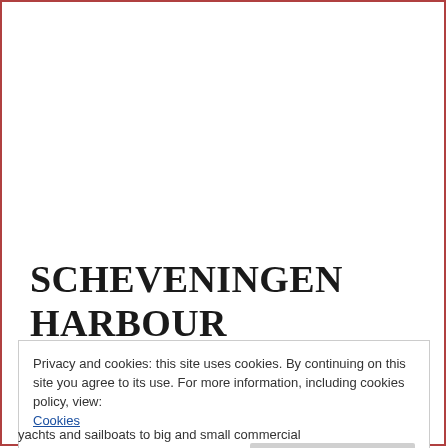Scheveningen harbour
Privacy and cookies: this site uses cookies. By continuing on this site you agree to its use. For more information, including cookies policy, view: Cookies
Close and confirm
yachts and sailboats to big and small commercial